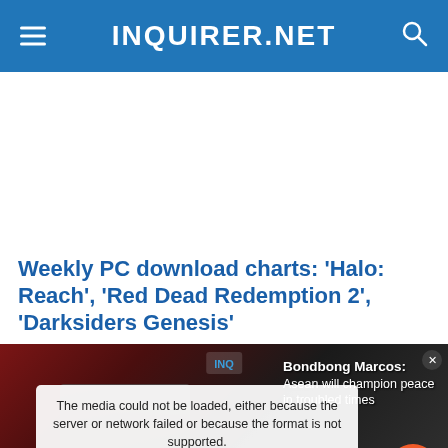INQUIRER.NET
[Figure (other): Advertisement / blank white area]
Weekly PC download charts: ‘Halo: Reach’, ‘Red Dead Redemption 2’, ‘Darksiders Genesis’
[Figure (screenshot): Video player showing Bongbong Marcos ASEAN content with media error overlay: 'The media could not be loaded, either because the server or network failed or because the format is not supported.']